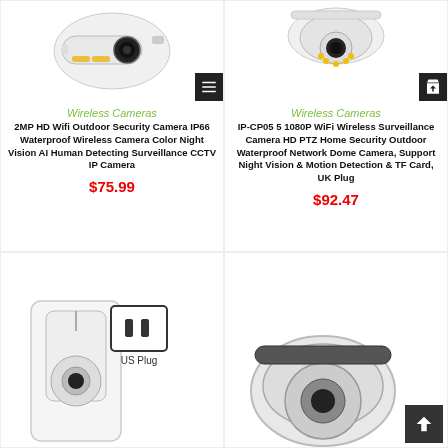[Figure (photo): 2MP HD Wifi Outdoor Security Camera product image - white bullet camera with color lights]
[Figure (photo): IP-CP05 5 1080P WiFi Wireless Surveillance Camera product image - white PTZ dome camera]
Wireless Cameras
2MP HD Wifi Outdoor Security Camera IP66 Waterproof Wireless Camera Color Night Vision AI Human Detecting Surveillance CCTV IP Camera
$75.99
Wireless Cameras
IP-CP05 5 1080P WiFi Wireless Surveillance Camera HD PTZ Home Security Outdoor Waterproof Network Dome Camera, Support Night Vision & Motion Detection & TF Card, UK Plug
$92.47
[Figure (photo): Outdoor wifi camera with US Plug adapter image at bottom left]
[Figure (photo): White dome surveillance camera image at bottom right]